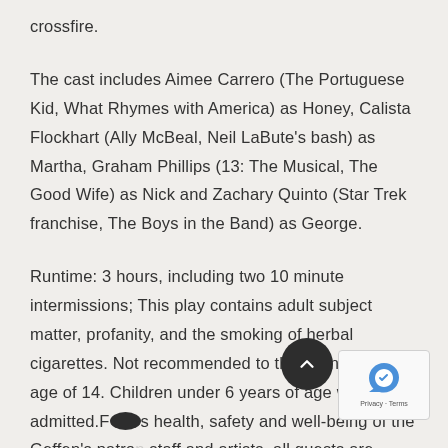crossfire.
The cast includes Aimee Carrero (The Portuguese Kid, What Rhymes with America) as Honey, Calista Flockhart (Ally McBeal, Neil LaBute's bash) as Martha, Graham Phillips (13: The Musical, The Good Wife) as Nick and Zachary Quinto (Star Trek franchise, The Boys in the Band) as George.
Runtime: 3 hours, including two 10 minute intermissions; This play contains adult subject matter, profanity, and the smoking of herbal cigarettes. Not recommended to those under the age of 14. Children under 6 years of age will not be admitted. For the health, safety and well-being of the Geffen's patrons, staff and artists, all guests are required to be